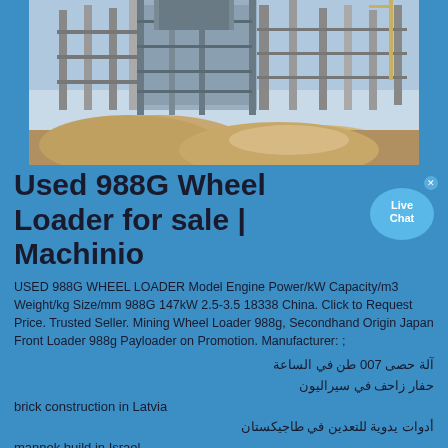[Figure (photo): Industrial construction site with steel framework, heavy equipment and sand/gravel mounds in the foreground under a clear sky.]
Used 988G Wheel Loader for sale | Machinio
USED 988G WHEEL LOADER Model Engine Power/kW Capacity/m3 Weight/kg Size/mm 988G 147kW 2.5-3.5 18338 China. Click to Request Price. Trusted Seller. Mining Wheel Loader 988g, Secondhand Origin Japan Front Loader 988g Payloader on Promotion. Manufacturer: ;
آلة حصى 700 طن في الساعة
حفار زاحف في سيراليون
brick construction in Latvia
أدوات يدوية للتعدين في طاجيكستان
mannok build in Israel
s s construction in Croatia
crushing plant environment design and plant layout